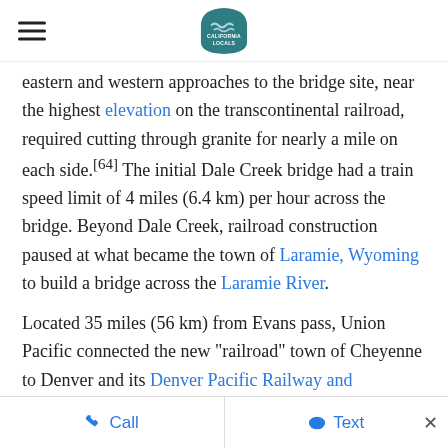California Locals logo with hamburger menus
eastern and western approaches to the bridge site, near the highest elevation on the transcontinental railroad, required cutting through granite for nearly a mile on each side.[64] The initial Dale Creek bridge had a train speed limit of 4 miles (6.4 km) per hour across the bridge. Beyond Dale Creek, railroad construction paused at what became the town of Laramie, Wyoming to build a bridge across the Laramie River.
Located 35 miles (56 km) from Evans pass, Union Pacific connected the new "railroad" town of Cheyenne to Denver and its Denver Pacific Railway and Telegraph Company railroad line in 1870. Elevated
Call   Text   ×